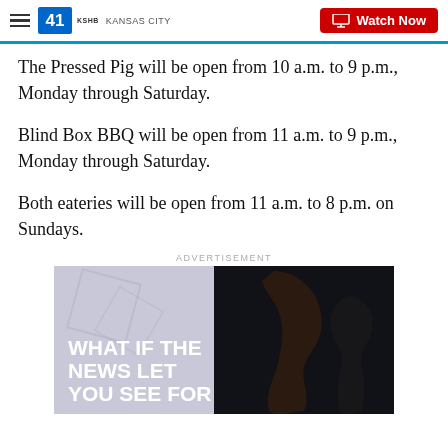41 KSHB KANSAS CITY | Watch Now
The Pressed Pig will be open from 10 a.m. to 9 p.m., Monday through Saturday.
Blind Box BBQ will be open from 11 a.m. to 9 p.m., Monday through Saturday.
Both eateries will be open from 11 a.m. to 8 p.m. on Sundays.
ADVERTISEMENT
[Figure (photo): Advertisement image with text 'WHAT IF THE NEWS LET YOU SEE FOR' overlaid on a dark background showing a person's profile silhouette]